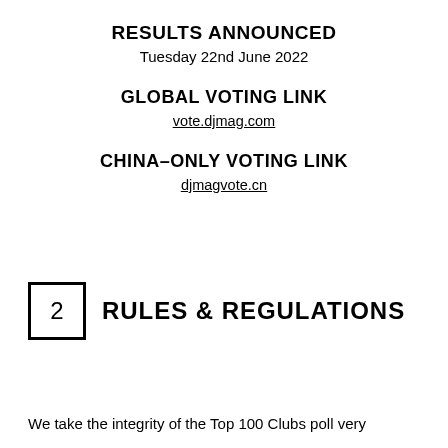RESULTS ANNOUNCED
Tuesday 22nd June 2022
GLOBAL VOTING LINK
vote.djmag.com
CHINA–ONLY VOTING LINK
djmagvote.cn
2   RULES & REGULATIONS
We take the integrity of the Top 100 Clubs poll very